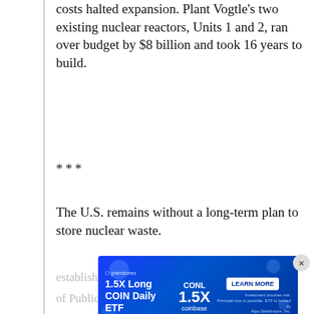costs halted expansion. Plant Vogtle's two existing nuclear reactors, Units 1 and 2, ran over budget by $8 billion and took 16 years to build.
***
The U.S. remains without a long-term plan to store nuclear waste.
***
“The U.S. is approving new reactors before the full suite of lessons from Japan has been learned and before new safety regulations that were recommended by a task force established after the meltdown crisis at [Fukushima] have been implemented,” said Tyson Slocum, director of Public Citizen’s Energy Program.
[Figure (other): Advertisement banner for 1.5X Long COIN Daily ETF on Coinbase with LEARN MORE button]